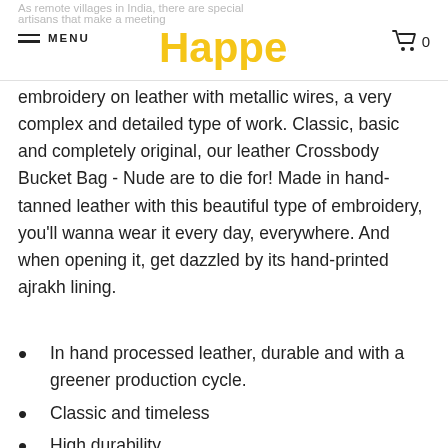Happee — MENU / Cart 0
embroidery on leather with metallic wires, a very complex and detailed type of work. Classic, basic and completely original, our leather Crossbody Bucket Bag - Nude are to die for! Made in hand-tanned leather with this beautiful type of embroidery, you'll wanna wear it every day, everywhere. And when opening it, get dazzled by its hand-printed ajrakh lining.
In hand processed leather, durable and with a greener production cycle.
Classic and timeless
High durability